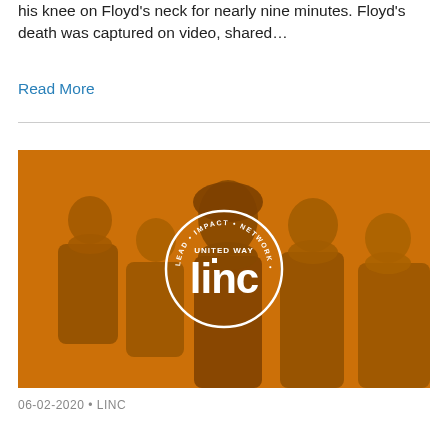his knee on Floyd's neck for nearly nine minutes. Floyd's death was captured on video, shared…
Read More
[Figure (photo): Group of young people smiling together with a United Way LINC logo overlay on an orange-tinted background. The circular logo reads 'LEAD · IMPACT · NETWORK · CHANGE' around the edge with 'UNITED WAY linc' in the center.]
06-02-2020 • LINC